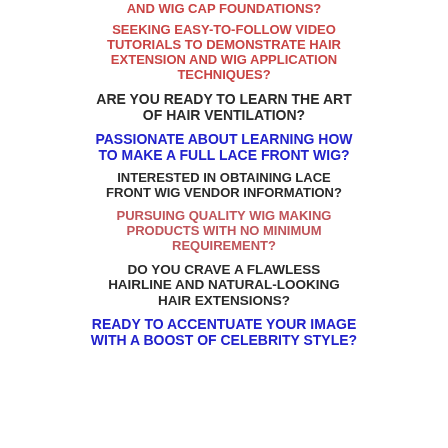AND WIG CAP FOUNDATIONS?
SEEKING EASY-TO-FOLLOW VIDEO TUTORIALS TO DEMONSTRATE HAIR EXTENSION AND WIG APPLICATION TECHNIQUES?
ARE YOU READY TO LEARN THE ART OF HAIR VENTILATION?
PASSIONATE ABOUT LEARNING HOW TO MAKE A FULL LACE FRONT WIG?
INTERESTED IN OBTAINING LACE FRONT WIG VENDOR INFORMATION?
PURSUING QUALITY WIG MAKING PRODUCTS WITH NO MINIMUM REQUIREMENT?
DO YOU CRAVE A FLAWLESS HAIRLINE AND NATURAL-LOOKING HAIR EXTENSIONS?
READY TO ACCENTUATE YOUR IMAGE WITH A BOOST OF CELEBRITY STYLE?